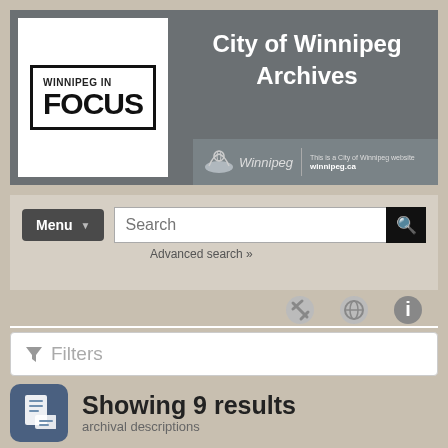[Figure (logo): Winnipeg in Focus logo — white box with bold black text 'WINNIPEG IN FOCUS']
City of Winnipeg Archives
[Figure (logo): City of Winnipeg branding strip with Winnipeg emblem and winnipeg.ca URL]
Menu
Search
Advanced search »
Filters
Showing 9 results
archival descriptions
North American Indigenous Games Ho... ×
Advanced search options